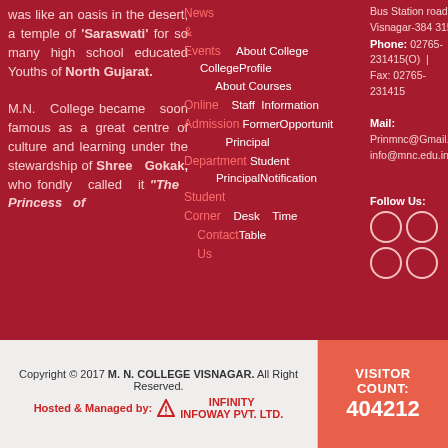was like an oasis in the desert, a temple of 'Saraswati' for so many high school educated Youths of North Gujarat.

M.N. College became soon famous as a great centre of culture and learning under the stewardship of Shree Gokak, who fondly called it "The Princess of
News & Events | Online Admission | Department | Student Corner | About College | CollegeProfile | About Courses | Staff Information | Former Opportunity | Principal | Student Notification | Principal Desk | Time Table | Contact Us
Bus Station road, Visnagar-384 315 Phone: 02765-231415(O) | Fax: 02765-231415 Mail: Prinmnc@Gmail.C info@mnc.edu.in Follow Us:
Copyright © 2017 M. N. COLLEGE VISNAGAR. All Right Reserved. Hosted & Managed by: INFINITY INFOWAY PVT. LTD.
VISITOR COUNT: 404212